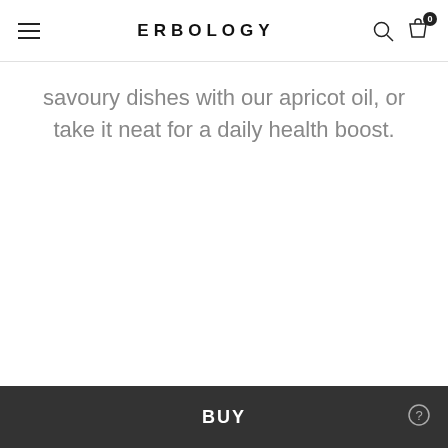ERBOLOGY
savoury dishes with our apricot oil, or take it neat for a daily health boost.
BUY